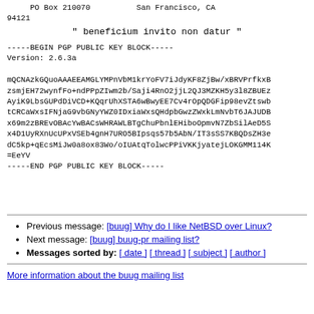PO Box 210070          San Francisco, CA 94121
" beneficium invito non datur "
-----BEGIN PGP PUBLIC KEY BLOCK-----
Version: 2.6.3a

mQCNAzkGQuoAAAEEAMGLYMPnVbM1krYoFV7iJdyKF8ZjBw/xBRVPrfkxB
zsmjEH72wynfFo+ndPPpZIwm2b/Saji4RnO2jjL2QJ3MZKH5y3l8ZBUEz
AyiK9LbsGUPdDiVCD+KQqrUhXSTA6wBwyEE7Cv4rOpQDGFip98evZtswb
tCRCaWxsIFNjaG9vbGNyYWZ0IDxiaWxsQHdpbGwzZWxkLmNvbT6JAJUDB
x69m2zBREvOBAcYwBACsWHRAWLBTgChuPbnlEHiboOpmvN7ZbSilAeD5S
x4D1UyRXnUcUPxVSEb4gnH7URO5BIpsqs57b5AbN/IT3sSS7KBQDsZH3e
dC5kp+qEcsMiJw0a8ox83Wo/oIUAtqTolwcPPiVKKjyatejLOKGMM114K
=EeYV
-----END PGP PUBLIC KEY BLOCK-----
Previous message: [buug] Why do I like NetBSD over Linux?
Next message: [buug] buug-pr mailing list?
Messages sorted by: [ date ] [ thread ] [ subject ] [ author ]
More information about the buug mailing list